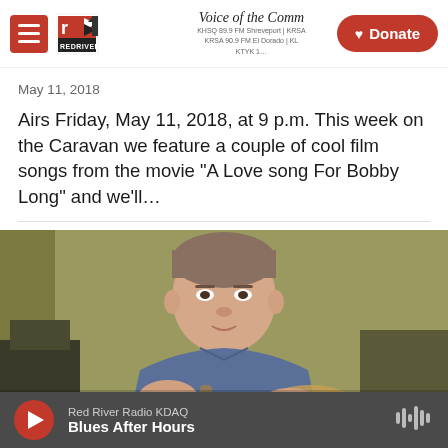Red River Radio — Voice of the Community | KHSQ 89.9 FM Shreveport | KRSA 90.9 FM El Dorado | KTYK | Donate
May 11, 2018
Airs Friday, May 11, 2018, at 9 p.m. This week on the Caravan we feature a couple of cool film songs from the movie "A Love song For Bobby Long" and we'll…
[Figure (photo): A man with short hair wearing a blue shirt, sitting with a guitar, photographed against a green/yellow wall background.]
Red River Radio KDAQ
Blues After Hours